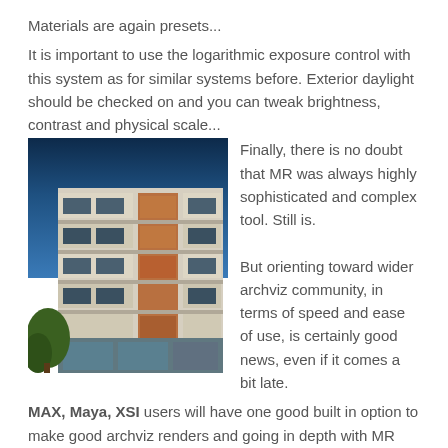Materials are again presets...
It is important to use the logarithmic exposure control with this system as for similar systems before. Exterior daylight should be checked on and you can tweak brightness, contrast and physical scale...
[Figure (photo): Exterior photo of a modern multi-story apartment or commercial building with wooden cladding panels, balconies, and large windows against a deep blue sky, with trees visible at the lower left.]
Finally, there is no doubt that MR was always highly sophisticated and complex tool. Still is.
But orienting toward wider archviz community, in terms of speed and ease of use, is certainly good news, even if it comes a bit late.
MAX, Maya, XSI users will have one good built in option to make good archviz renders and going in depth with MR could bring unlimited height in results quality. Just remember the powerful